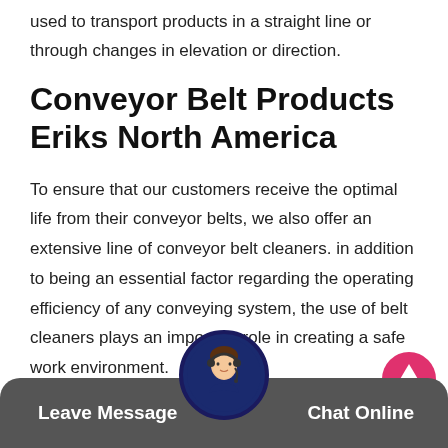used to transport products in a straight line or through changes in elevation or direction.
Conveyor Belt Products Eriks North America
To ensure that our customers receive the optimal life from their conveyor belts, we also offer an extensive line of conveyor belt cleaners. in addition to being an essential factor regarding the operating efficiency of any conveying system, the use of belt cleaners plays an important role in creating a safe work environment.
We have certified engineers use cutting edge technology to design and manufacture all of our conveyor
[Figure (other): Back-to-top arrow button (red/pink circle with white upward arrow)]
[Figure (photo): Customer service representative avatar with headset]